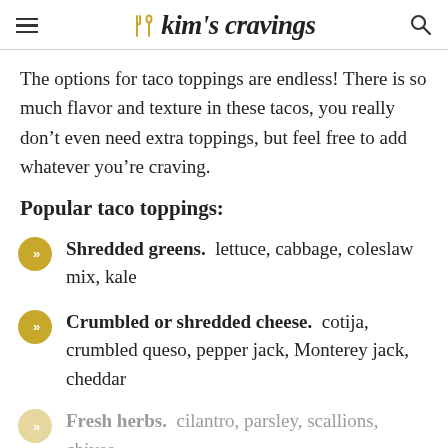kim's cravings
The options for taco toppings are endless! There is so much flavor and texture in these tacos, you really don’t even need extra toppings, but feel free to add whatever you’re craving.
Popular taco toppings:
Shredded greens. lettuce, cabbage, coleslaw mix, kale
Crumbled or shredded cheese. cotija, crumbled queso, pepper jack, Monterey jack, cheddar
Fresh herbs. cilantro, parsley, scallions, chives